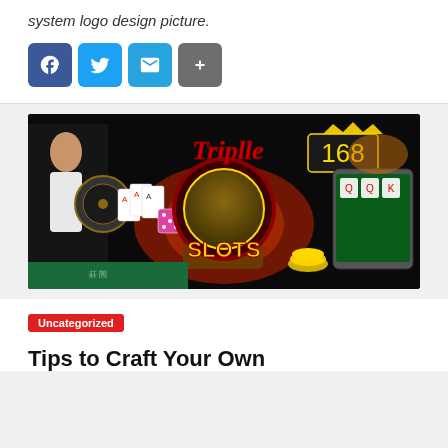system logo design picture.
[Figure (infographic): Social sharing buttons: Facebook (blue), Twitter (light blue), Email (teal), More/Plus (grey)]
[Figure (illustration): Triplle 168 casino banner image showing a woman, roulette wheel, playing cards, dice, slot machine graphic, coins, dragon, tablet with slot game, and the text 'Triplle 168 SLOTS' on a dark background.]
Uncategorized
Tips to Craft Your Own